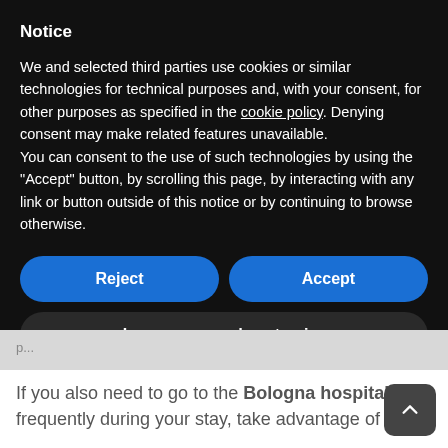Notice
We and selected third parties use cookies or similar technologies for technical purposes and, with your consent, for other purposes as specified in the cookie policy. Denying consent may make related features unavailable.
You can consent to the use of such technologies by using the "Accept" button, by scrolling this page, by interacting with any link or button outside of this notice or by continuing to browse otherwise.
Reject
Accept
Learn more and customize
If you also need to go to the Bologna hospitals frequently during your stay, take advantage of the